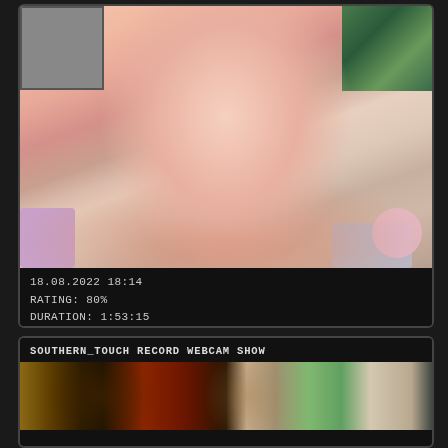[Figure (photo): Webcam screenshot of a blonde woman with heavy eye makeup and chest tattoos, holding a makeup pencil. Background shows framed art and colorful pillows in a bedroom setting.]
18.08.2022 18:14
RATING: 80%
DURATION: 1:53:15
SOUTHERN_TOUCH RECORD WEBCAM SHOW
[Figure (photo): Thumbnail showing guitar, wine bottle, and fabric items on a table.]